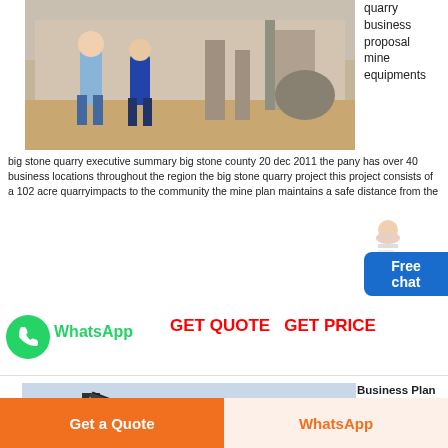[Figure (photo): Two people standing inside an industrial/warehouse facility with equipment and machinery in the background]
quarry business proposal mine equipments
big stone quarry executive summary big stone county 20 dec 2011 the pany has over 40 business locations throughout the region the big stone quarry project this project consists of a 102 acre quarryimpacts to the community the mine plan maintains a safe distance from the
[Figure (illustration): Customer service representative figure with Free chat widget button]
[Figure (logo): WhatsApp green phone icon]
WhatsApp
GET QUOTE   GET PRICE
[Figure (photo): Large industrial quarry crane/conveyor machinery on a quarry site]
Business Plan For A Quarry Project Business Plan For A
Get a Quote
WhatsApp